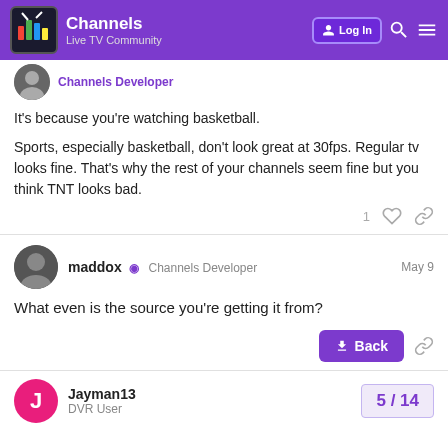Channels — Live TV Community
Channels Developer (partial, top of post)
It's because you're watching basketball.

Sports, especially basketball, don't look great at 30fps. Regular tv looks fine. That's why the rest of your channels seem fine but you think TNT looks bad.
maddox  Channels Developer  May 9
What even is the source you're getting it from?
Jayman13  DVR User  5 / 14